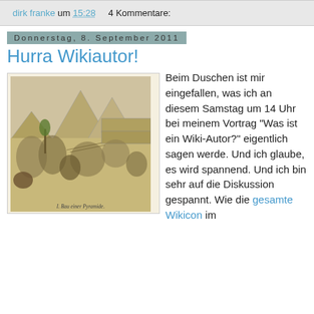dirk franke um 15:28    4 Kommentare:
Donnerstag, 8. September 2011
Hurra Wikiautor!
[Figure (illustration): Historical engraving scene with figures and pyramids in background, captioned 'I. Bau einer Pyramide.']
Beim Duschen ist mir eingefallen, was ich an diesem Samstag um 14 Uhr bei meinem Vortrag "Was ist ein Wiki-Autor?" eigentlich sagen werde. Und ich glaube, es wird spannend. Und ich bin sehr auf die Diskussion gespannt. Wie die gesamte Wikicon im